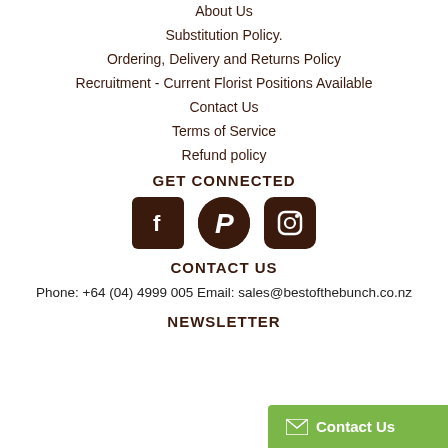About Us
Substitution Policy.
Ordering, Delivery and Returns Policy
Recruitment - Current Florist Positions Available
Contact Us
Terms of Service
Refund policy
GET CONNECTED
[Figure (other): Social media icons: Facebook, Pinterest, Instagram]
CONTACT US
Phone: +64 (04) 4999 005 Email: sales@bestofthebunch.co.nz
NEWSLETTER
Contact Us